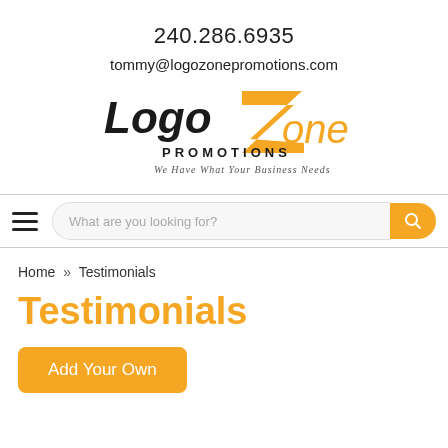240.286.6935
tommy@logozonepromotions.com
[Figure (logo): LogoZone Promotions logo with orange Z and italic text 'We Have What Your Business Needs']
≡  What are you looking for? [search button]
Home » Testimonials
Testimonials
Add Your Own